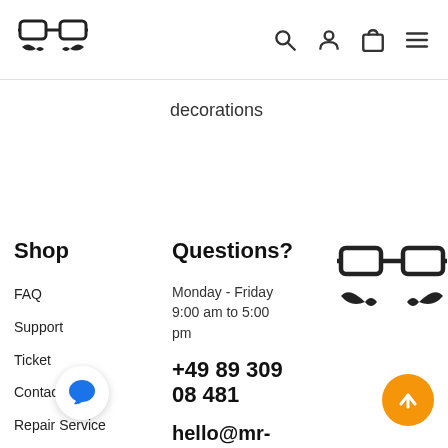[Figure (logo): Mr. Beam logo with glasses and mustache icon in top-left header]
[Figure (infographic): Navigation icons: search, person, shopping bag, hamburger menu]
decorations
Shop
Questions?
[Figure (logo): Mr. Beam logo with glasses and mustache in footer right column]
FAQ
Support
Ticket
Contact
Repair Service
Shipping & Returns
Downloads
Monday - Friday 9:00 am to 5:00 pm
+49 89 309 08 481
hello@mr-beam.org
Kontaktseite